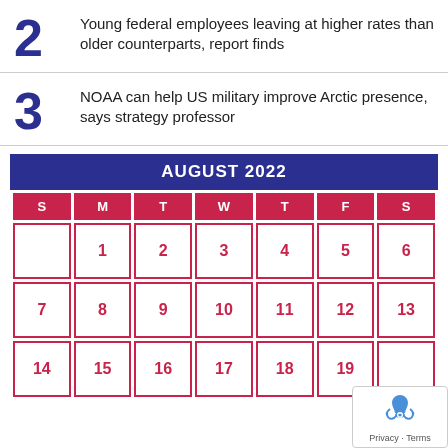2 Young federal employees leaving at higher rates than older counterparts, report finds
3 NOAA can help US military improve Arctic presence, says strategy professor
| S | M | T | W | T | F | S |
| --- | --- | --- | --- | --- | --- | --- |
|  | 1 | 2 | 3 | 4 | 5 | 6 |
| 7 | 8 | 9 | 10 | 11 | 12 | 13 |
| 14 | 15 | 16 | 17 | 18 | 19 |  |